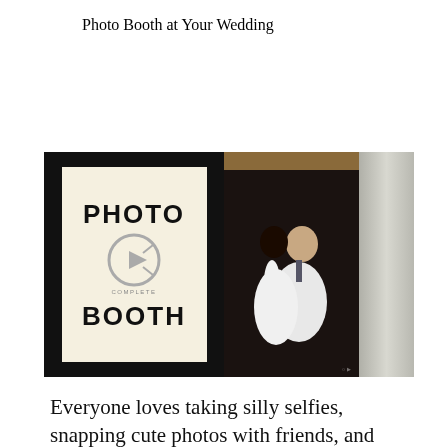Photo Booth at Your Wedding
[Figure (photo): A photo of a photo booth setup at a wedding. Left side shows a black-framed sign with 'PHOTO BOOTH' text and a Complete Booth logo. Right side shows a couple kissing inside the photo booth curtain.]
Everyone loves taking silly selfies, snapping cute photos with friends, and